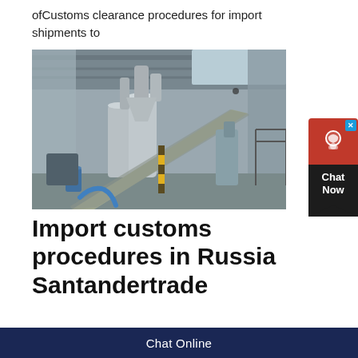ofCustoms clearance procedures for import shipments to
[Figure (photo): Industrial facility interior showing large grey ventilation/dust collection equipment with cylindrical tanks, ducting, and a conveyor belt ramp, inside a metal-roofed warehouse building.]
Import customs procedures in Russia Santandertrade
[Figure (infographic): Chat Now widget — red box with headset icon and close button, black label area reading 'Chat Now' with pointed bottom]
Chat Online